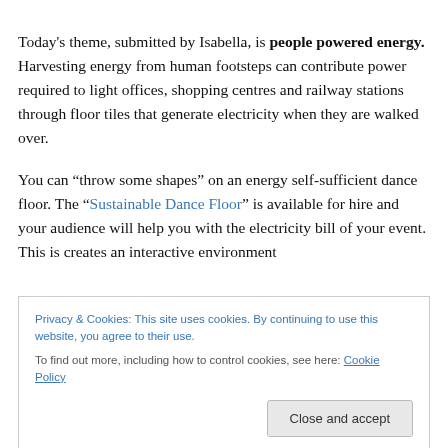Today's theme, submitted by Isabella, is people powered energy. Harvesting energy from human footsteps can contribute power required to light offices, shopping centres and railway stations through floor tiles that generate electricity when they are walked over.
You can “throw some shapes” on an energy self-sufficient dance floor. The “Sustainable Dance Floor” is available for hire and your audience will help you with the electricity bill of your event. This is creates an interactive environment
Privacy & Cookies: This site uses cookies. By continuing to use this website, you agree to their use. To find out more, including how to control cookies, see here: Cookie Policy
Close and accept
during the 2012 Olympic Games, generating the power